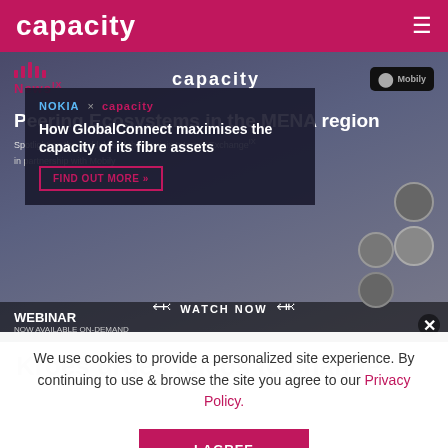capacity
[Figure (screenshot): Overlapping ad banners: Nokia/Capacity ad about GlobalConnect fibre assets over Peering Ecosystems in the MENA region webinar banner. Logos include Nokia, Capacity, NewsIX, Mobily.]
Kroes urges telcos to change
We use cookies to provide a personalized site experience. By continuing to use & browse the site you agree to our Privacy Policy.
I AGREE